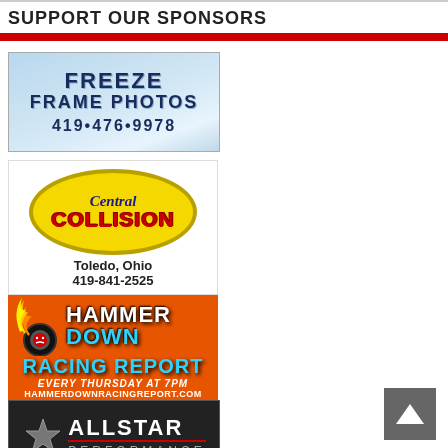SUPPORT OUR SPONSORS
[Figure (photo): Freeze Frame Photos advertisement with phone number 419-476-9978]
[Figure (logo): Central Collision logo - yellow oval with red COLLISION text, Toledo, Ohio, 419-841-2525]
[Figure (logo): Hammer Down Racing Report advertisement - every Thursday at 7PM, hammerdownracingreport.com]
[Figure (logo): Allstar Performance logo on dark background]